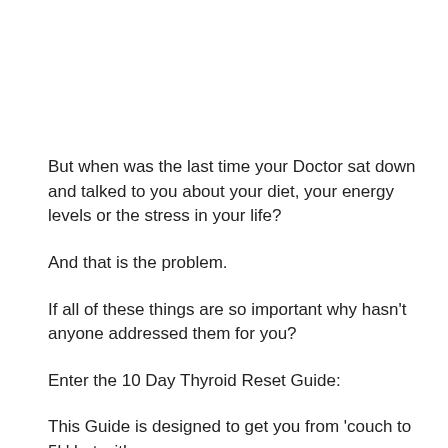But when was the last time your Doctor sat down and talked to you about your diet, your energy levels or the stress in your life?
And that is the problem.
If all of these things are so important why hasn't anyone addressed them for you?
Enter the 10 Day Thyroid Reset Guide:
This Guide is designed to get you from 'couch to 5k' but with